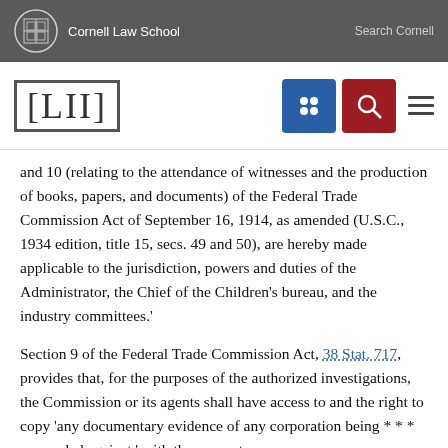Cornell Law School   Search Cornell
[Figure (logo): LII Cornell Law School navigation bar with grid icon, search icon, and menu icon]
and 10 (relating to the attendance of witnesses and the production of books, papers, and documents) of the Federal Trade Commission Act of September 16, 1914, as amended (U.S.C., 1934 edition, title 15, secs. 49 and 50), are hereby made applicable to the jurisdiction, powers and duties of the Administrator, the Chief of the Children's bureau, and the industry committees.'
Section 9 of the Federal Trade Commission Act, 38 Stat. 717, provides that, for the purposes of the authorized investigations, the Commission or its agents shall have access to and the right to copy 'any documentary evidence of any corporation being * * * proceeded against,' with the power to